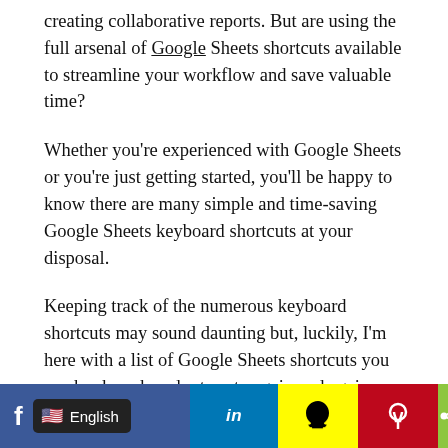creating collaborative reports. But are using the full arsenal of Google Sheets shortcuts available to streamline your workflow and save valuable time?
Whether you’re experienced with Google Sheets or you’re just getting started, you’ll be happy to know there are many simple and time-saving Google Sheets keyboard shortcuts at your disposal.
Keeping track of the numerous keyboard shortcuts may sound daunting but, luckily, I’m here with a list of Google Sheets shortcuts you can bookmark and return to again and again.
30 Google Sheets Keyboard Shortcuts